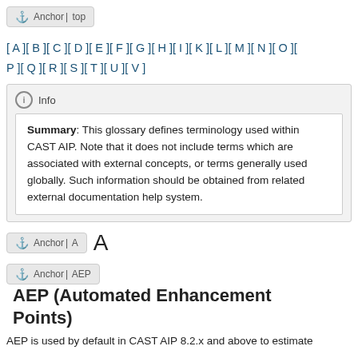[Figure (other): Anchor button with anchor icon and text 'Anchor | top']
[ A ][ B ][ C ][ D ][ E ][ F ][ G ][ H ][ I ][ K ][ L ][ M ][ N ][ O ][ P ][ Q ][ R ][ S ][ T ][ U ][ V ]
Info
Summary: This glossary defines terminology used within CAST AIP. Note that it does not include terms which are associated with external concepts, or terms generally used globally. Such information should be obtained from related external documentation help system.
[Figure (other): Anchor button with anchor icon and text 'Anchor | A', followed by large letter A]
AEP (Automated Enhancement Points)
AEP is used by default in CAST AIP 8.2.x and above to estimate